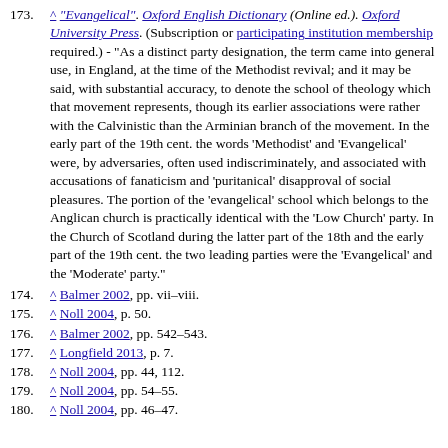173. ^ "Evangelical". Oxford English Dictionary (Online ed.). Oxford University Press. (Subscription or participating institution membership required.) - "As a distinct party designation, the term came into general use, in England, at the time of the Methodist revival; and it may be said, with substantial accuracy, to denote the school of theology which that movement represents, though its earlier associations were rather with the Calvinistic than the Arminian branch of the movement. In the early part of the 19th cent. the words 'Methodist' and 'Evangelical' were, by adversaries, often used indiscriminately, and associated with accusations of fanaticism and 'puritanical' disapproval of social pleasures. The portion of the 'evangelical' school which belongs to the Anglican church is practically identical with the 'Low Church' party. In the Church of Scotland during the latter part of the 18th and the early part of the 19th cent. the two leading parties were the 'Evangelical' and the 'Moderate' party."
174. ^ Balmer 2002, pp. vii–viii.
175. ^ Noll 2004, p. 50.
176. ^ Balmer 2002, pp. 542–543.
177. ^ Longfield 2013, p. 7.
178. ^ Noll 2004, pp. 44, 112.
179. ^ Noll 2004, pp. 54–55.
180. ^ Noll 2004, pp. 46–47.